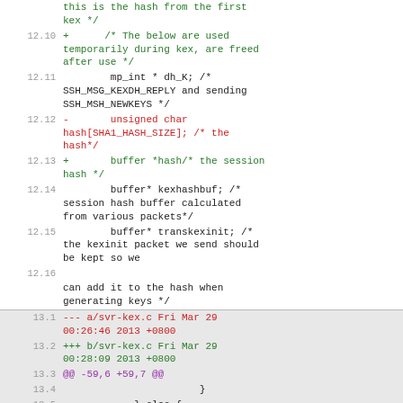this is the hash from the first kex */
12.10  +      /* The below are used temporarily during kex, are freed after use */
12.11         mp_int * dh_K; /* SSH_MSG_KEXDH_REPLY and sending SSH_MSH_NEWKEYS */
12.12  -      unsigned char hash[SHA1_HASH_SIZE]; /* the hash*/
12.13  +      buffer *hash/* the session hash */
12.14         buffer* kexhashbuf; /* session hash buffer calculated from various packets*/
12.15         buffer* transkexinit; /* the kexinit packet we send should be kept so we
12.16         can add it to the hash when generating keys */
13.1  --- a/svr-kex.c Fri Mar 29 00:26:46 2013 +0800
13.2  +++ b/svr-kex.c Fri Mar 29 00:28:09 2013 +0800
13.3  @@ -59,6 +59,7 @@
13.4                  }
13.5          } else {
13.6    #ifdef DROPBEAR_ECDH